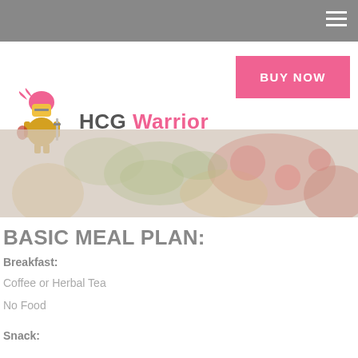[Figure (logo): HCG Warrior logo with spartan warrior mascot icon in pink/gold and brand name 'HCG Warrior' in gray and pink text]
[Figure (photo): Hero food image showing a salad with vegetables, tomatoes, and other fresh produce, with a washed-out/faded overlay effect]
BASIC MEAL PLAN:
Breakfast:
Coffee or Herbal Tea
No Food
Snack: